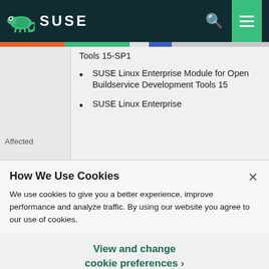SUSE
Tools 15-SP1
SUSE Linux Enterprise Module for Open Buildservice Development Tools 15
SUSE Linux Enterprise
Affected
How We Use Cookies
We use cookies to give you a better experience, improve performance and analyze traffic. By using our website you agree to our use of cookies.
View and change cookie preferences ›